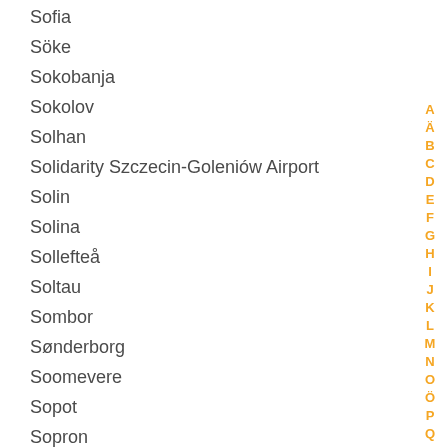Sofia
Söke
Sokobanja
Sokolov
Solhan
Solidarity Szczecin-Goleniów Airport
Solin
Solina
Sollefteå
Soltau
Sombor
Sønderborg
Soomevere
Sopot
Sopron